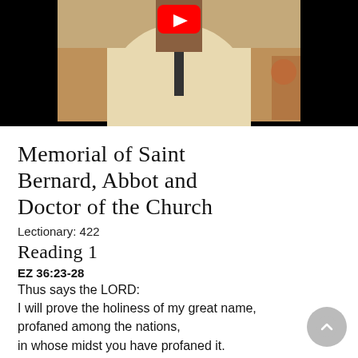[Figure (screenshot): YouTube video thumbnail showing a person in a white/cream robe with a microphone, set against a warm brown background. A YouTube play button (red) is visible at the top center.]
Memorial of Saint Bernard, Abbot and Doctor of the Church
Lectionary: 422
Reading 1
EZ 36:23-28
Thus says the LORD:
I will prove the holiness of my great name,
profaned among the nations,
in whose midst you have profaned it.